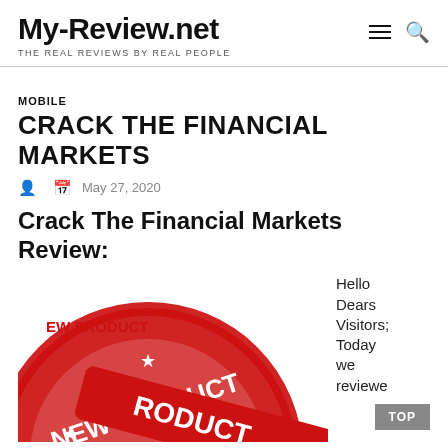My-Review.net
THE REAL REVIEWS BY REAL PEOPLE
MOBILE
CRACK THE FINANCIAL MARKETS
May 27, 2020
Crack The Financial Markets Review:
[Figure (photo): Red rubber stamp circular image reading 'NEW PRODUCT' with stars, partially cut off at bottom]
Hello Dears Visitors; Today we reviewe